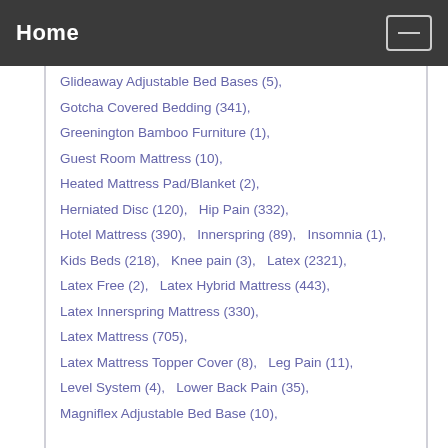Home
Glideaway Adjustable Bed Bases (5),
Gotcha Covered Bedding (341),
Greenington Bamboo Furniture (1),
Guest Room Mattress (10),
Heated Mattress Pad/Blanket (2),
Herniated Disc (120),   Hip Pain (332),
Hotel Mattress (390),   Innerspring (89),   Insomnia (1),
Kids Beds (218),   Knee pain (3),   Latex (2321),
Latex Free (2),   Latex Hybrid Mattress (443),
Latex Innerspring Mattress (330),
Latex Mattress (705),
Latex Mattress Topper Cover (8),   Leg Pain (11),
Level System (4),   Lower Back Pain (35),
Magniflex Adjustable Bed Base (10),